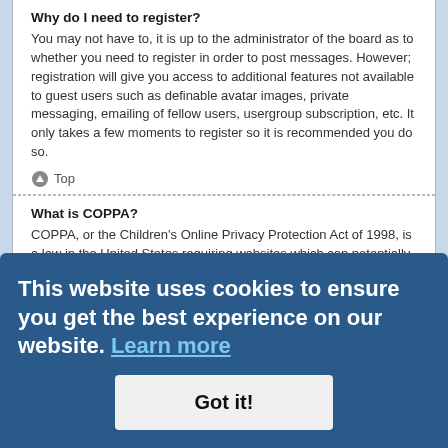Why do I need to register?
You may not have to, it is up to the administrator of the board as to whether you need to register in order to post messages. However; registration will give you access to additional features not available to guest users such as definable avatar images, private messaging, emailing of fellow users, usergroup subscription, etc. It only takes a few moments to register so it is recommended you do so.
Top
What is COPPA?
COPPA, or the Children's Online Privacy Protection Act of 1998, is a law in the United States requiring websites which can potentially collect information from minors under the age of 13 to have written parental consent or some other method of legal guardian acknowledgment, allowing the collection of personally identifiable information from a minor under the age of 13. If you are unsure if this applies to you as someone trying to register or to the website you are trying to register on, contact legal counsel. Please note that phpBB Limited and the owners of this board cannot provide legal advice and is not a point of contact for legal concerns of any kind, except as outlined in question "Who do I contact about abusive and/or legal matters related to this board?".
Top
This website uses cookies to ensure you get the best experience on our website. Learn more
Got it!